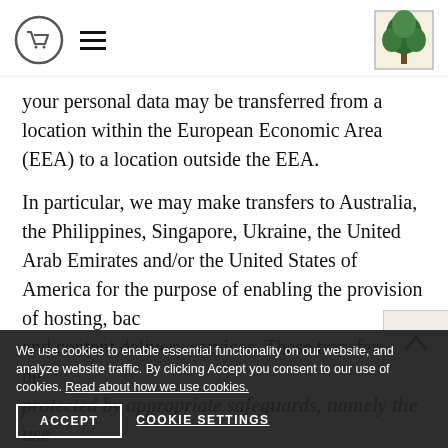[Cart icon] [Hamburger menu] [Tree logo]
your personal data may be transferred from a location within the European Economic Area (EEA) to a location outside the EEA.
In particular, we may make transfers to Australia, the Philippines, Singapore, Ukraine, the United Arab Emirates and/or the United States of America for the purpose of enabling the provision of hosting, back and content delivery services. These transfers will be protected by appropriate safeguards, namely the use of the standard contractual clauses (https://ec.europa.eu/info/law/law-topic/data-protection/data-transfers-outside-eu/model-contracts-transfers-personal-data-third-countries_en) and/or the Privacy Shield scheme
We use cookies to enable essential functionality on our website, and analyze website traffic. By clicking Accept you consent to our use of cookies. Read about how we use cookies.
ACCEPT   COOKIE SETTINGS